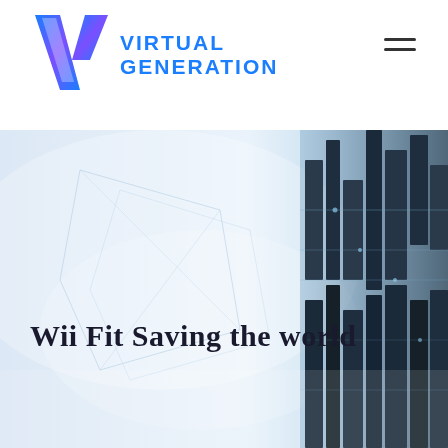[Figure (logo): Virtual Generation logo: a V-shaped chevron icon in blue-to-purple gradient with 'VIRTUAL GENERATION' text in bold blue]
[Figure (photo): Hero banner image showing a futuristic cityscape and circuit board elements with cool blue and white tones, spanning the lower portion of the page]
Wii Fit Saving the world